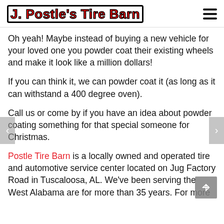J. Postle's Tire Barn
Oh yeah! Maybe instead of buying a new vehicle for your loved one you powder coat their existing wheels and make it look like a million dollars!
If you can think it, we can powder coat it (as long as it can withstand a 400 degree oven).
Call us or come by if you have an idea about powder coating something for that special someone for Christmas.
Postle Tire Barn is a locally owned and operated tire and automotive service center located on Jug Factory Road in Tuscaloosa, AL. We've been serving the West Alabama are for more than 35 years. For more